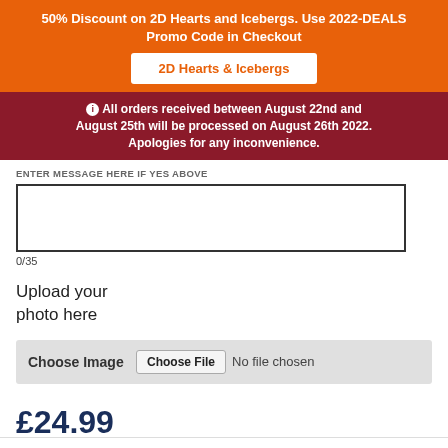50% Discount on 2D Hearts and Icebergs. Use 2022-DEALS Promo Code in Checkout
2D Hearts & Icebergs
ℹ All orders received between August 22nd and August 25th will be processed on August 26th 2022. Apologies for any inconvenience.
ENTER MESSAGE HERE IF YES ABOVE
0/35
Upload your photo here
Choose Image
Choose File No file chosen
£24.99